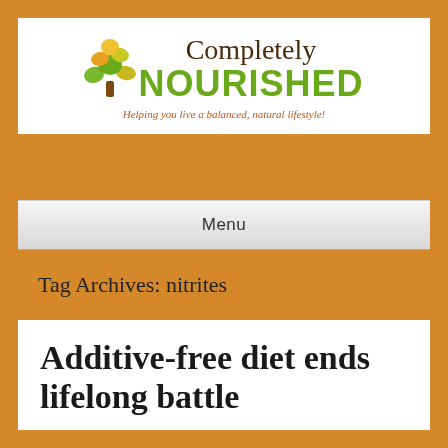[Figure (logo): Completely Nourished logo with a colorful tree icon above the text. Text reads 'Completely NOURISHED' with tagline 'Helping you live a balanced, natural lifestyle!']
Menu
Tag Archives: nitrites
Additive-free diet ends lifelong battle